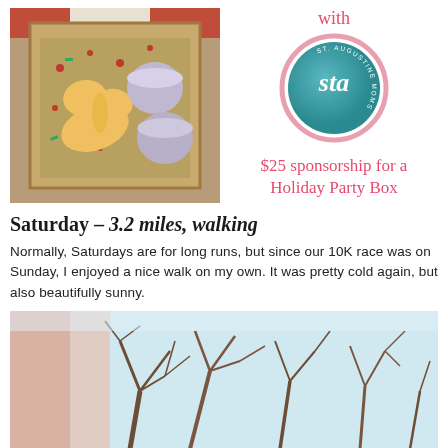[Figure (photo): Top-down view of a holiday party box containing sugar cookies and small round containers on red and green shredded paper, inside a cardboard box with holiday wrapping visible]
[Figure (logo): STA St. Augustine Moms circular logo with teal background and pink ring]
with
$25 sponsorship for a Holiday Party Box
Saturday – 3.2 miles, walking
Normally, Saturdays are for long runs, but since our 10K race was on Sunday, I enjoyed a nice walk on my own. It was pretty cold again, but also beautifully sunny.
[Figure (photo): Outdoor winter photo looking up at bare tree branches against a bright sky, with a blurry pinkish foreground element]